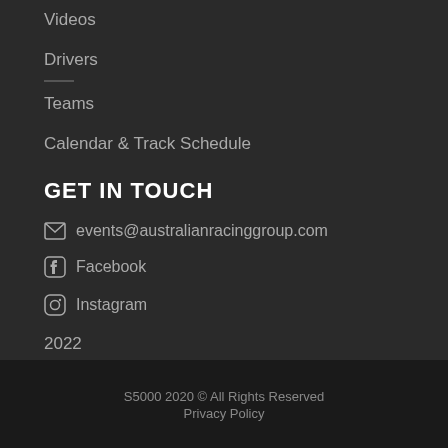Videos
Drivers
Teams
Calendar & Track Schedule
GET IN TOUCH
events@australianracinggroup.com
Facebook
Instagram
2022
S5000 2020 © All Rights Reserved
Privacy Policy